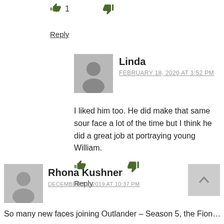[Figure (other): Thumbs up icon with vote count 1, thumbs down icon]
Reply
[Figure (photo): Gray placeholder avatar for user Linda]
Linda
FEBRUARY 18, 2020 AT 1:52 PM
I liked him too. He did make that same sour face a lot of the time but I think he did a great job at portraying young William.
[Figure (other): Thumbs up icon and thumbs down icon for Linda's comment]
Reply
[Figure (photo): Gray placeholder avatar for user Rhona Kushner]
Rhona Kushner
DECEMBER 11, 2019 AT 10:37 PM
So many new faces joining Outlander – Season 5, the Fion…